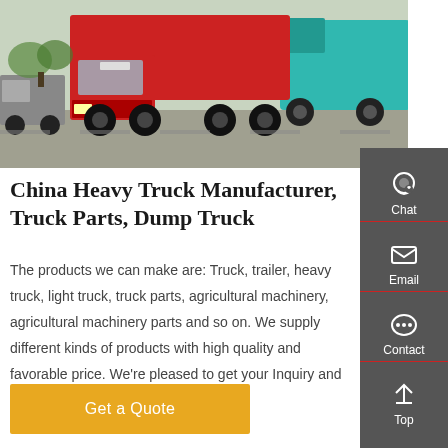[Figure (photo): Red and teal Chinese heavy dump trucks (SINOTRUK/HOWO) parked in a yard, photographed from a low angle showing the front and side of multiple large trucks.]
China Heavy Truck Manufacturer, Truck Parts, Dump Truck
The products we can make are: Truck, trailer, heavy truck, light truck, truck parts, agricultural machinery, agricultural machinery parts and so on. We supply different kinds of products with high quality and favorable price. We're pleased to get your Inquiry and we will reply you as soon as possible.
Get a Quote